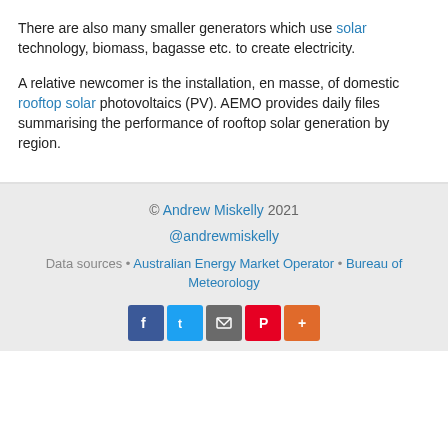There are also many smaller generators which use solar technology, biomass, bagasse etc. to create electricity.
A relative newcomer is the installation, en masse, of domestic rooftop solar photovoltaics (PV). AEMO provides daily files summarising the performance of rooftop solar generation by region.
© Andrew Miskelly 2021
@andrewmiskelly
Data sources • Australian Energy Market Operator • Bureau of Meteorology